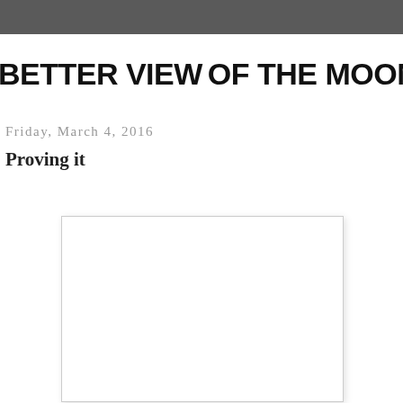BETTER VIEW OF THE MOON
Friday, March 4, 2016
Proving it
[Figure (photo): Blank white image placeholder with light gray border, centered below the post title]